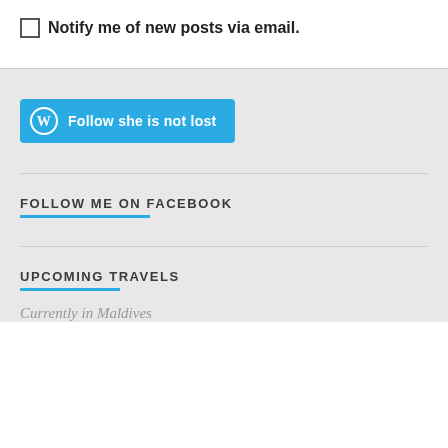Notify me of new posts via email.
[Figure (other): WordPress Follow button with teal background saying 'Follow she is not lost']
FOLLOW ME ON FACEBOOK
UPCOMING TRAVELS
Currently in Maldives